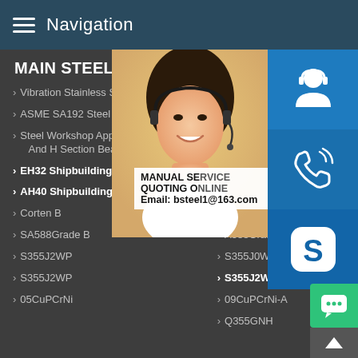Navigation
MAIN STEEL PRODUCT
Vibration Stainless Steel Sheet
ERW Steel Pipe
ASME SA192 Steel Exporter
Astm A
Steel Workshop Application And H Section Beams
ABS B
ABS D
EH32 Shipbuilding Steel
AH36
AH40 Shipbuilding Steel
Corten
Corten B
A588Grade B
SA588Grade B
S355J0WP
S355J2WP
S355J2W
S355J2WP
09CuPCrNi-A
05CuPCrNi
Q355GNH
[Figure (photo): Woman with headset smiling, customer service representative photo]
[Figure (infographic): Three blue icon boxes on right side: customer support icon, phone/call icon, Skype icon]
MANUAL SE... QUOTING O... Email: bsteel1@163.com